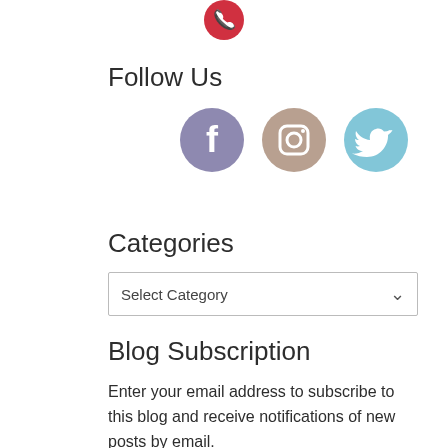[Figure (illustration): Partial red circle icon (phone/contact) visible at top center, cropped]
Follow Us
[Figure (illustration): Three social media icons in circles: Facebook (purple-grey), Instagram (tan/beige), Twitter (light blue)]
Categories
Select Category
Blog Subscription
Enter your email address to subscribe to this blog and receive notifications of new posts by email.
Email Address
Subscribe